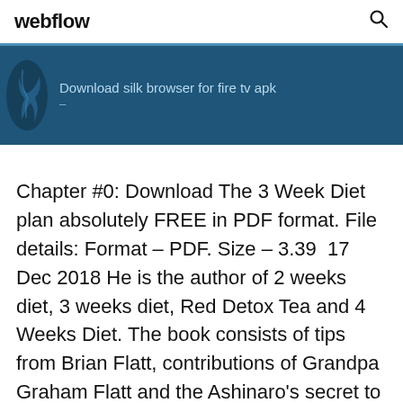webflow
[Figure (screenshot): Dark blue banner with a silhouette bird/flame icon on the left and text 'Download silk browser for fire tv apk' in light blue color]
Chapter #0: Download The 3 Week Diet plan absolutely FREE in PDF format. File details: Format – PDF. Size – 3.39  17 Dec 2018 He is the author of 2 weeks diet, 3 weeks diet, Red Detox Tea and 4 Weeks Diet. The book consists of tips from Brian Flatt, contributions of Grandpa Graham Flatt and the Ashinaro's secret to For those interested